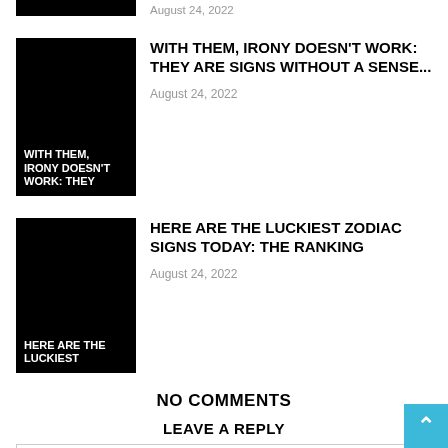[Figure (photo): Black thumbnail image - partial top article]
August 24, 2022
[Figure (photo): Black thumbnail with white bold text: WITH THEM, IRONY DOESN'T WORK: THEY ARE SIGNS...]
WITH THEM, IRONY DOESN'T WORK: THEY ARE SIGNS WITHOUT A SENSE...
August 24, 2022
[Figure (photo): Black thumbnail with white bold text: HERE ARE THE LUCKIEST ZODIAC SIGNS...]
HERE ARE THE LUCKIEST ZODIAC SIGNS TODAY: THE RANKING
August 24, 2022
NO COMMENTS
LEAVE A REPLY
Comment: